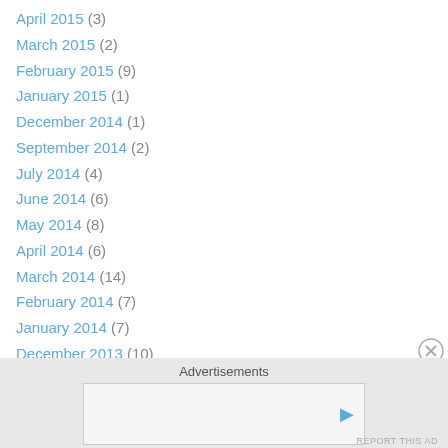April 2015 (3)
March 2015 (2)
February 2015 (9)
January 2015 (1)
December 2014 (1)
September 2014 (2)
July 2014 (4)
June 2014 (6)
May 2014 (8)
April 2014 (6)
March 2014 (14)
February 2014 (7)
January 2014 (7)
December 2013 (10)
November 2013 (12)
October 2013 (12)
Advertisements